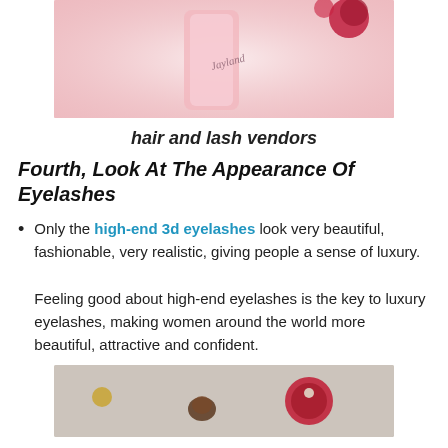[Figure (photo): Pink product (perfume/cosmetic) bottle on white fluffy background with red glittery ornaments]
hair and lash vendors
Fourth, Look At The Appearance Of Eyelashes
Only the high-end 3d eyelashes look very beautiful, fashionable, very realistic, giving people a sense of luxury. Feeling good about high-end eyelashes is the key to luxury eyelashes, making women around the world more beautiful, attractive and confident.
[Figure (photo): Decorative items on grey fabric background including a pinecone, red glittery ornament with pearl, and golden charm]